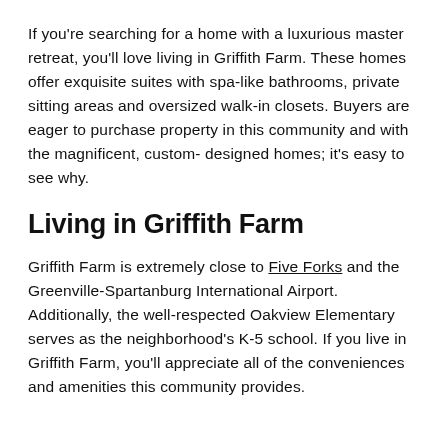If you're searching for a home with a luxurious master retreat, you'll love living in Griffith Farm. These homes offer exquisite suites with spa-like bathrooms, private sitting areas and oversized walk-in closets. Buyers are eager to purchase property in this community and with the magnificent, custom- designed homes; it's easy to see why.
Living in Griffith Farm
Griffith Farm is extremely close to Five Forks and the Greenville-Spartanburg International Airport. Additionally, the well-respected Oakview Elementary serves as the neighborhood's K-5 school. If you live in Griffith Farm, you'll appreciate all of the conveniences and amenities this community provides.